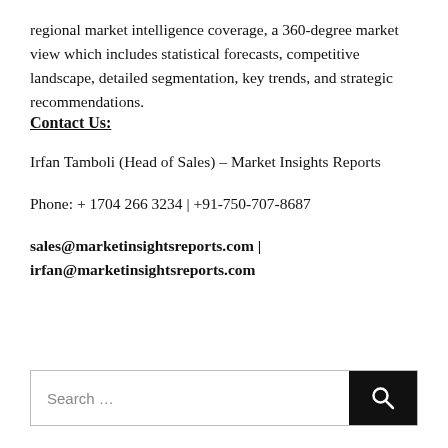regional market intelligence coverage, a 360-degree market view which includes statistical forecasts, competitive landscape, detailed segmentation, key trends, and strategic recommendations.
Contact Us:
Irfan Tamboli (Head of Sales) – Market Insights Reports
Phone: + 1704 266 3234 | +91-750-707-8687
sales@marketinsightsreports.com | irfan@marketinsightsreports.com